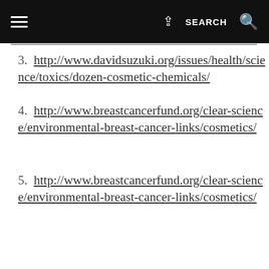≡  [share]  SEARCH  [search icon]
3. http://www.davidsuzuki.org/issues/health/science/toxics/dozen-cosmetic-chemicals/
4. http://www.breastcancerfund.org/clear-science/environmental-breast-cancer-links/cosmetics/
5. http://www.breastcancerfund.org/clear-science/environmental-breast-cancer-links/cosmetics/
6. http://www.breastcancerfund.org/clear-science/environmental-breast-cancer-links/cosmetics/
7. http://www.davidsuzuki.org/issues/health/science/toxics/dozen-cosmetic-chemicals/